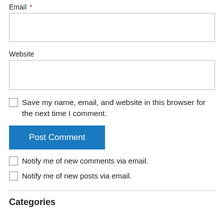Email *
Website
Save my name, email, and website in this browser for the next time I comment.
Post Comment
Notify me of new comments via email.
Notify me of new posts via email.
Categories